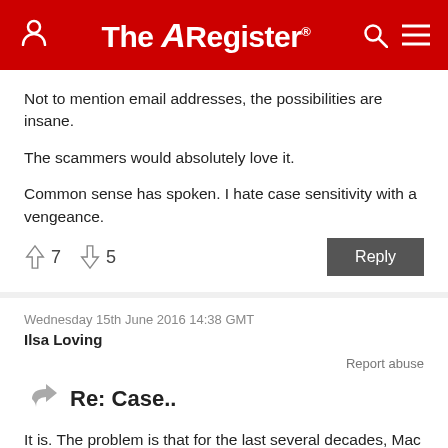The Register
Not to mention email addresses, the possibilities are insane.

The scammers would absolutely love it.

Common sense has spoken. I hate case sensitivity with a vengeance.
↑7  ↓5
Wednesday 15th June 2016 14:38 GMT
Ilsa Loving
Report abuse
Re: Case..
It is. The problem is that for the last several decades, Mac has allowed case insensitive file management. If they arbitrarily change that stance